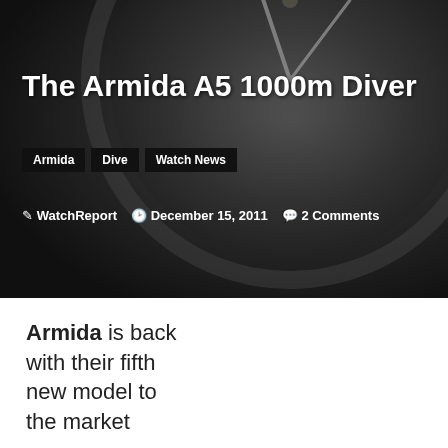[Figure (photo): Hero image of a watch face (dive watch), dark grayscale tones, showing watch bezel and dial markings]
The Armida A5 1000m Diver
Armida   Dive   Watch News
WatchReport   December 15, 2011   2 Comments
Armida is back with their fifth new model to the market
We use cookies on our website to give you the most relevant experience by remembering your preferences and repeat visits. By clicking “Accept”, you consent to the use of ALL the cookies.
Cookie settings   ACCEPT